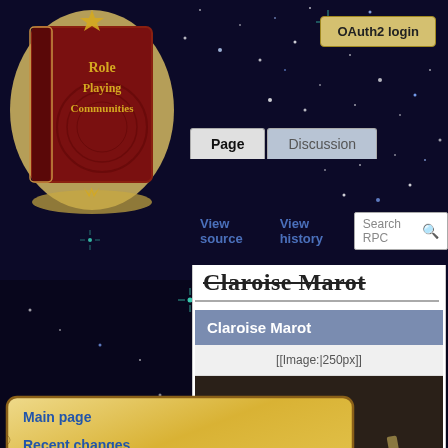OAuth2 login
[Figure (illustration): Role Playing Communities wiki logo — a red leather-bound book with golden decorative text and scroll ornament on a dark starry background]
Page | Discussion | View source | View history | Search RPC
Claroise Marot
Claroise Marot
[[Image:|250px]]
[Figure (photo): A female elf character from a fantasy video game (FFXIV style), with pointed ears, dark hair tied up, wearing light armor, looking slightly upward with a serious expression. Dark stone architecture background.]
Main page
Recent changes
Random page
RPC Forums
Characters
Player Characters
NPCs
All characters
Races
Hyur